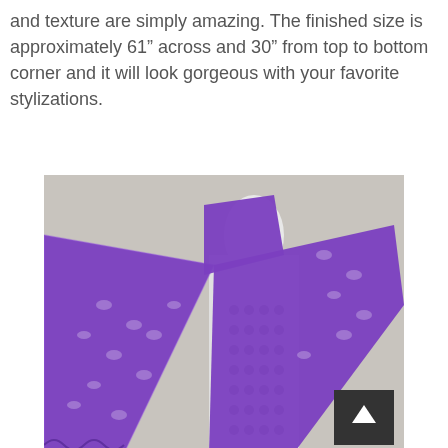and texture are simply amazing. The finished size is approximately 61" across and 30" from top to bottom corner and it will look gorgeous with your favorite stylizations.
[Figure (photo): A purple crocheted lace shawl draped on a white mannequin over a white crochet top. The shawl is a vibrant purple/violet color with an open lace stitch pattern.]